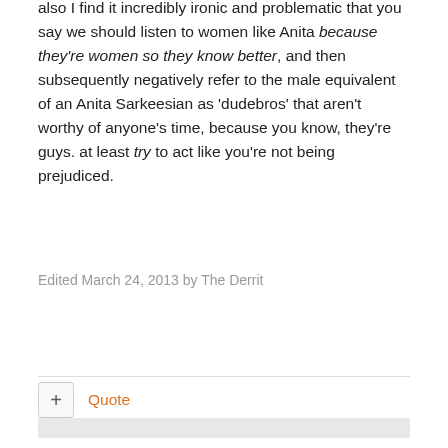also I find it incredibly ironic and problematic that you say we should listen to women like Anita because they're women so they know better, and then subsequently negatively refer to the male equivalent of an Anita Sarkeesian as 'dudebros' that aren't worthy of anyone's time, because you know, they're guys. at least try to act like you're not being prejudiced.
Edited March 24, 2013 by The Derrit
Quote
Tensei
Posted March 24, 2013
How would you describe the color burgundy to a person who has been blind all their life?
Language, being a human construct, has no objective/universal definitions of things, unlike mathematics or physics. It's purely consensus-based, that's why you can't objectively say that someone is right or wrong in calling something sexist. This actually came up earlier